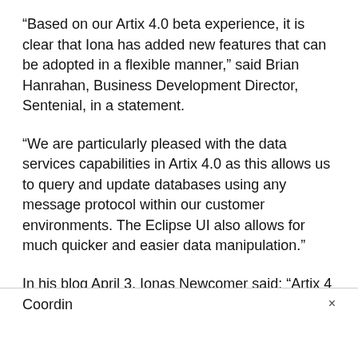“Based on our Artix 4.0 beta experience, it is clear that Iona has added new features that can be adopted in a flexible manner,” said Brian Hanrahan, Business Development Director, Sentenial, in a statement.
“We are particularly pleased with the data services capabilities in Artix 4.0 as this allows us to query and update databases using any message protocol within our customer environments. The Eclipse UI also allows for much quicker and easier data manipulation.”
In his blog April 3, Ionas Newcomer said: “Artix 4 includes: Orchestration – deployable at the endpoint or intermediary – includes Artix multi protocol support; WS-RM – reliable messaging for HTTP; Data services – creating services from data sou
Coordin